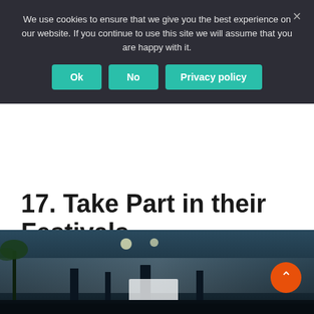We use cookies to ensure that we give you the best experience on our website. If you continue to use this site we will assume that you are happy with it.
Ok | No | Privacy policy
17. Take Part in their Festivals
[Figure (photo): A festival scene at night with lights, smoke/haze, palm trees and a crowd visible in the lower portion of the page.]